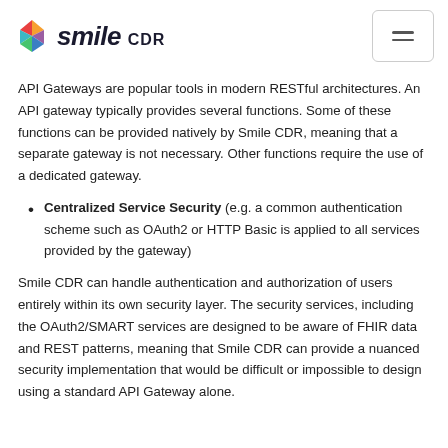smile CDR
API Gateways are popular tools in modern RESTful architectures. An API gateway typically provides several functions. Some of these functions can be provided natively by Smile CDR, meaning that a separate gateway is not necessary. Other functions require the use of a dedicated gateway.
Centralized Service Security (e.g. a common authentication scheme such as OAuth2 or HTTP Basic is applied to all services provided by the gateway)
Smile CDR can handle authentication and authorization of users entirely within its own security layer. The security services, including the OAuth2/SMART services are designed to be aware of FHIR data and REST patterns, meaning that Smile CDR can provide a nuanced security implementation that would be difficult or impossible to design using a standard API Gateway alone.